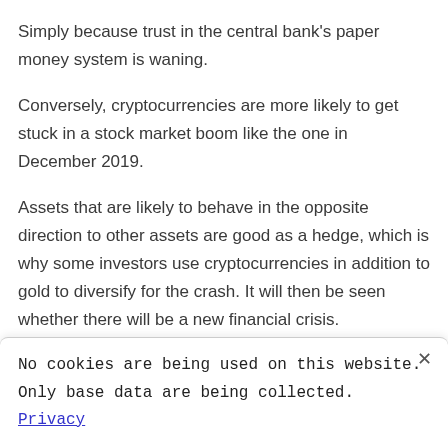Simply because trust in the central bank's paper money system is waning.
Conversely, cryptocurrencies are more likely to get stuck in a stock market boom like the one in December 2019.
Assets that are likely to behave in the opposite direction to other assets are good as a hedge, which is why some investors use cryptocurrencies in addition to gold to diversify for the crash. It will then be seen whether there will be a new financial crisis.
No cookies are being used on this website. Only base data are being collected. Privacy